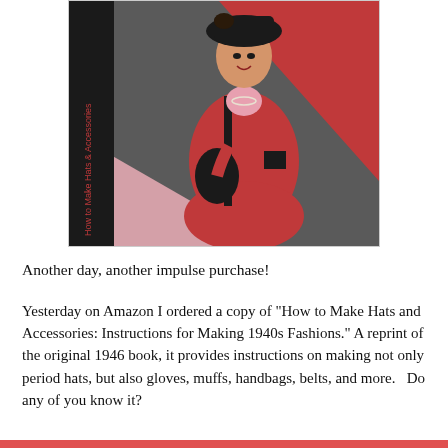[Figure (illustration): Book cover of 'How to Make Hats & Accessories' showing a woman in a red 1940s suit and hat, holding a dark muff, with text on the spine reading 'How to Make Hats & Accessories']
Another day, another impulse purchase!
Yesterday on Amazon I ordered a copy of "How to Make Hats and Accessories: Instructions for Making 1940s Fashions." A reprint of the original 1946 book, it provides instructions on making not only period hats, but also gloves, muffs, handbags, belts, and more.   Do any of you know it?